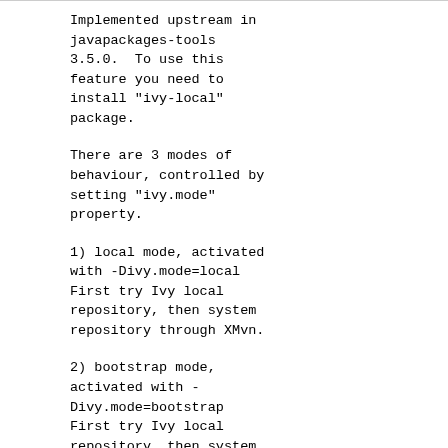Implemented upstream in javapackages-tools 3.5.0.  To use this feature you need to install "ivy-local" package.
There are 3 modes of behaviour, controlled by setting "ivy.mode" property.
1) local mode, activated with -Divy.mode=local First try Ivy local repository, then system repository through XMvn.
2) bootstrap mode, activated with -Divy.mode=bootstrap First try Ivy local repository, then system repository through XMvn, finally public remote repositories (download artifacts from the Internet).  This mode is useful when building